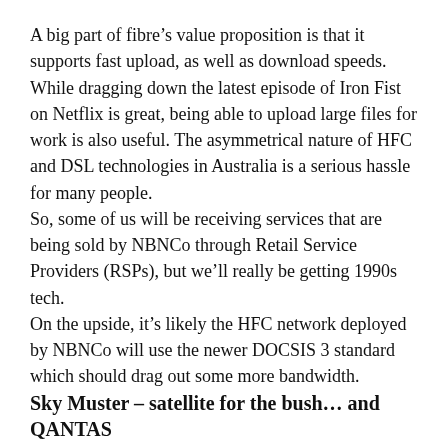A big part of fibre's value proposition is that it supports fast upload, as well as download speeds. While dragging down the latest episode of Iron Fist on Netflix is great, being able to upload large files for work is also useful. The asymmetrical nature of HFC and DSL technologies in Australia is a serious hassle for many people.
So, some of us will be receiving services that are being sold by NBNCo through Retail Service Providers (RSPs), but we'll really be getting 1990s tech.
On the upside, it's likely the HFC network deployed by NBNCo will use the newer DOCSIS 3 standard which should drag out some more bandwidth.
Sky Muster – satellite for the bush… and QANTAS
Dragging fibre or some some other cable into a cattle ranch 2000km from anywhere was never in NBNCo's plan. For remote locations, the use of satellites was always on the